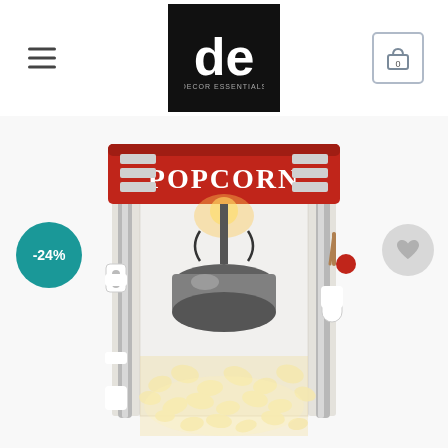[Figure (logo): Decor Essentials logo: white 'de' monogram on black square background with 'DECOR ESSENTIALS' text below]
[Figure (photo): Red retro-style popcorn machine with 'POPCORN' text on the header, stainless steel kettle inside, glass enclosure filled with popcorn at the bottom, illuminated interior. Shows a -24% discount badge (teal circle) on the left and a wishlist heart button (gray circle) on the upper right.]